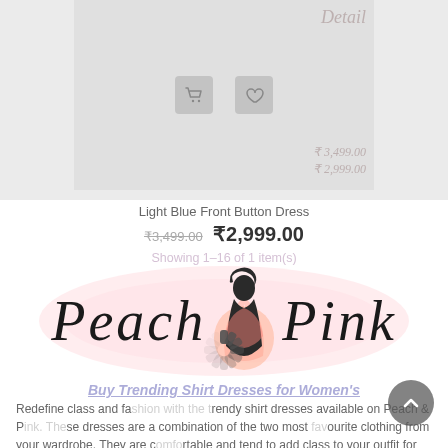[Figure (screenshot): Product image area showing a light blue dress with cart/wishlist icons, overlaid with 'Detail' and price text in faded italic style]
Light Blue Front Button Dress
₹3,499.00 ₹2,999.00
Showing 1–16 of 1 item(s)
[Figure (logo): Peach & Pink brand logo with cursive text and a feminine silhouette figure in pink and peach tones on a soft pink blob background]
Buy Trending Shirt Dresses for Women's
Redefine class and fashion with the trendy shirt dresses available on Peach & Pink. These dresses are a combination of the two most favourite clothing from your wardrobe. They are comfortable and tend to add class to your outfit for the day. It is one of the most common choices of women wear during the summer and monsoon season. An outstanding feature of the dress is that it can be worn on a daily basis as well.